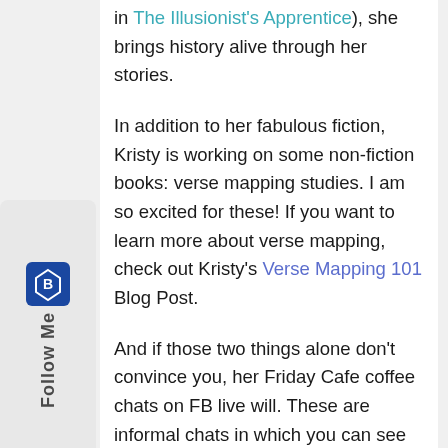in The Illusionist's Apprentice), she brings history alive through her stories.
In addition to her fabulous fiction, Kristy is working on some non-fiction books: verse mapping studies. I am so excited for these! If you want to learn more about verse mapping, check out Kristy's Verse Mapping 101 Blog Post.
And if those two things alone don't convince you, her Friday Cafe coffee chats on FB live will. These are informal chats in which you can see some of Kristy's personality shining through. Her humor, her heart, and her passions shine through during these special author/reader chats.